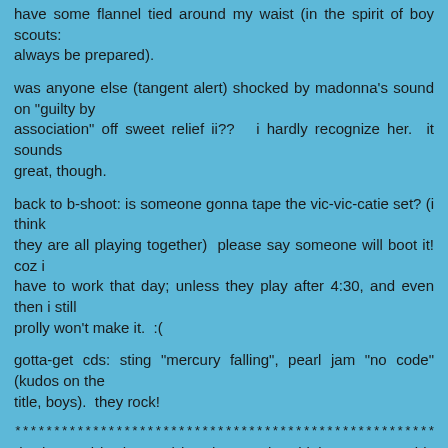have some flannel tied around my waist (in the spirit of boy scouts:
always be prepared).
was anyone else (tangent alert) shocked by madonna's sound on "guilty by
association" off sweet relief ii??  i hardly recognize her.  it sounds
great, though.
back to b-shoot: is someone gonna tape the vic-vic-catie set? (i think
they are all playing together)  please say someone will boot it! coz i
have to work that day; unless they play after 4:30, and even then i still
prolly won't make it.  :(
gotta-get cds: sting "mercury falling", pearl jam "no code" (kudos on the
title, boys).  they rock!
******************************************************************************
"ha ha, and ho ho, and hee hee" --"the chink", even cowgirls get the blues
******gwon koyt*******